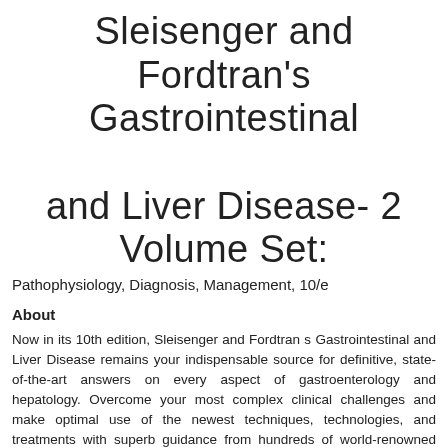Sleisenger and Fordtran's Gastrointestinal and Liver Disease- 2 Volume Set:
Pathophysiology, Diagnosis, Management, 10/e
About
Now in its 10th edition, Sleisenger and Fordtran s Gastrointestinal and Liver Disease remains your indispensable source for definitive, state-of-the-art answers on every aspect of gastroenterology and hepatology. Overcome your most complex clinical challenges and make optimal use of the newest techniques, technologies, and treatments with superb guidance from hundreds of world-renowned authorities. Meticulous